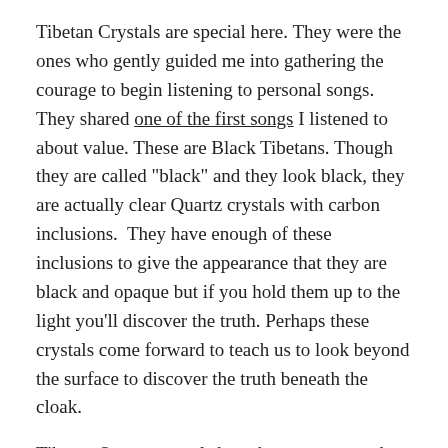Tibetan Crystals are special here. They were the ones who gently guided me into gathering the courage to begin listening to personal songs. They shared one of the first songs I listened to about value. These are Black Tibetans. Though they are called "black" and they look black, they are actually clear Quartz crystals with carbon inclusions. They have enough of these inclusions to give the appearance that they are black and opaque but if you hold them up to the light you'll discover the truth. Perhaps these crystals come forward to teach us to look beyond the surface to discover the truth beneath the cloak.
Tibetan Quartz crystals have been transported "on the back of a Yak in a sack" to the China border for distribution. These crystals have been used to promote contact with the ancient cultures of the East, bringing knowledge and information concerning healing and spirituality to the user. They have been used to facilitate